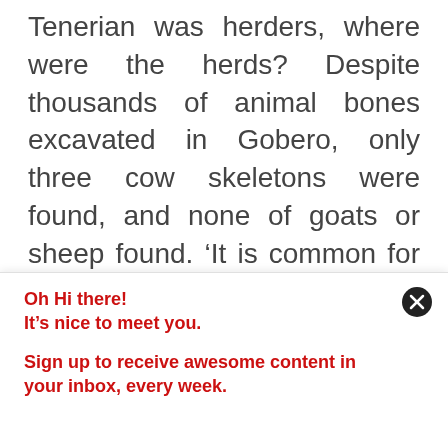Tenerian was herders, where were the herds? Despite thousands of animal bones excavated in Gobero, only three cow skeletons were found, and none of goats or sheep found. ‘It is common for the herding people not to kill the cattle, particularly in a cemetery.’ Elena Garcea remarked, ‘Even the modem pastoralists
Oh Hi there!
It’s nice to meet you.
Sign up to receive awesome content in your inbox, every week.